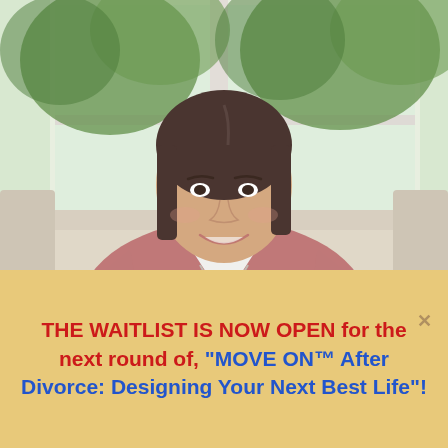[Figure (photo): A woman with shoulder-length brown hair, wearing a pink/mauve wrap cardigan over a white top with a long necklace, sitting on a light-colored sofa. She is smiling. The background shows large windows with green trees visible outside, filling the room with natural light.]
THE WAITLIST IS NOW OPEN for the next round of, "MOVE ON™ After Divorce: Designing Your Next Best Life"!